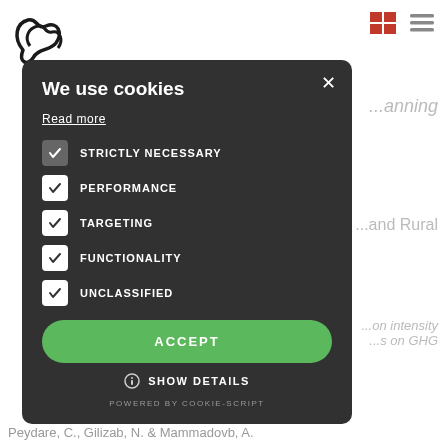[Figure (logo): Decorative logo/icon in top left, black squiggly shape]
[Figure (infographic): Red grid icon and grey hamburger menu icon in top right navigation]
...and Rural
...on intensity ...s on GHG
[Figure (screenshot): Cookie consent modal dialog with dark background. Title: 'We use cookies'. Read more link. Checkboxes: STRICTLY NECESSARY (grey checked), PERFORMANCE (white checked), TARGETING (white checked), FUNCTIONALITY (white checked), UNCLASSIFIED (white checked). Green ACCEPT button. SHOW DETAILS link. Powered by Cookie-Script footer.]
Peydare, C., Gilizab, N. & Mammadovb, A.